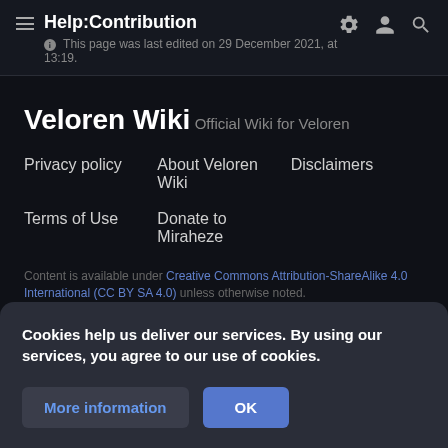Help:Contribution
This page was last edited on 29 December 2021, at 13:19.
Veloren Wiki
Official Wiki for Veloren
Privacy policy
About Veloren Wiki
Disclaimers
Terms of Use
Donate to Miraheze
Content is available under Creative Commons Attribution-ShareAlike 4.0 International (CC BY SA 4.0) unless otherwise noted.
Cookies help us deliver our services. By using our services, you agree to our use of cookies.